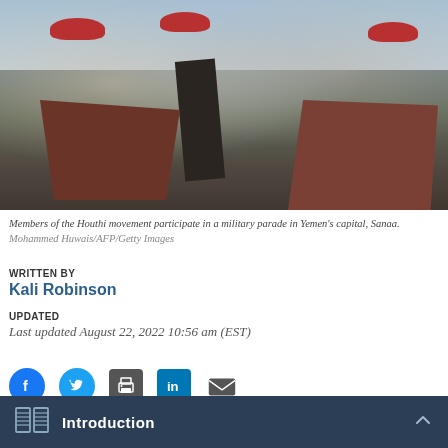[Figure (photo): Members of the Houthi movement in military uniforms with red berets participate in a military parade in Yemen's capital, Sanaa, with a gun mount visible in the foreground.]
Members of the Houthi movement participate in a military parade in Yemen's capital, Sanaa. Mohammed Huwais/AFP/Getty Images
WRITTEN BY
Kali Robinson
UPDATED
Last updated August 22, 2022 10:56 am (EST)
Introduction